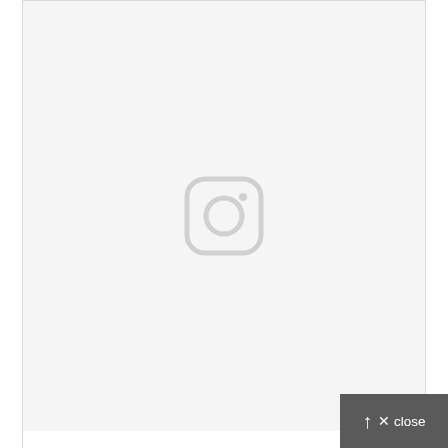[Figure (other): Instagram embed placeholder showing the Instagram camera icon on a light gray background, with caption text and attribution below]
Some awesome photos for our Bimber – Viral Magazine Theme #viral #WordPress #magazine #theme
A post shared by Bring The Pixel (@bringthepixel) on Mar ...
Behind the word mountains, far from the countries Vokalia and Consonantia, there live the blind texts